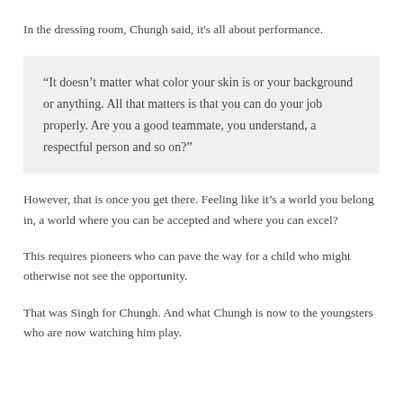In the dressing room, Chungh said, it's all about performance.
“It doesn’t matter what color your skin is or your background or anything. All that matters is that you can do your job properly. Are you a good teammate, you understand, a respectful person and so on?”
However, that is once you get there. Feeling like it’s a world you belong in, a world where you can be accepted and where you can excel?
This requires pioneers who can pave the way for a child who might otherwise not see the opportunity.
That was Singh for Chungh. And what Chungh is now to the youngsters who are now watching him play.